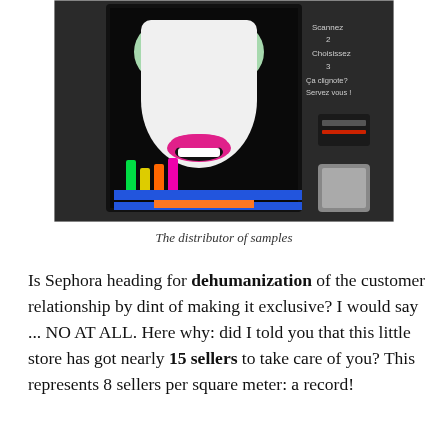[Figure (photo): A Sephora cosmetics vending machine / sample distributor with a stylized graphic of a woman's face with glowing eyes and magenta lips on a dark background, displaying colorful makeup products inside. French text on the right side reads: 'Scannez 2 Choisissez 3 Ça clignote? Servez vous!']
The distributor of samples
Is Sephora heading for dehumanization of the customer relationship by dint of making it exclusive? I would say ... NO AT ALL. Here why: did I told you that this little store has got nearly 15 sellers to take care of you? This represents 8 sellers per square meter: a record!